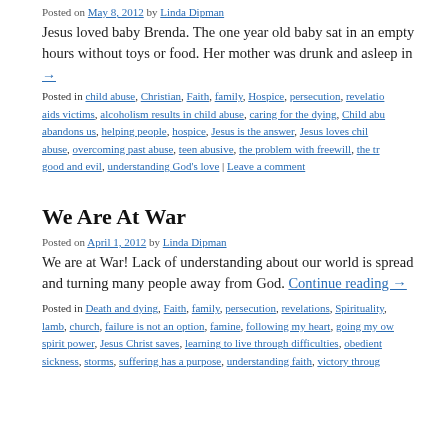Posted on May 8, 2012 by Linda Dipman
Jesus loved baby Brenda. The one year old baby sat in an empty hours without toys or food. Her mother was drunk and asleep in
→
Posted in child abuse, Christian, Faith, family, Hospice, persecution, revelation, aids victims, alcoholism results in child abuse, caring for the dying, Child abu... abandons us, helping people, hospice, Jesus is the answer, Jesus loves chil... abuse, overcoming past abuse, teen abusive, the problem with freewill, the tr... good and evil, understanding God's love | Leave a comment
We Are At War
Posted on April 1, 2012 by Linda Dipman
We are at War! Lack of understanding about our world is spread and turning many people away from God. Continue reading →
Posted in Death and dying, Faith, family, persecution, revelations, Spirituality, lamb, church, failure is not an option, famine, following my heart, going my ow... spirit power, Jesus Christ saves, learning to live through difficulties, obedient sickness, storms, suffering has a purpose, understanding faith, victory throug...